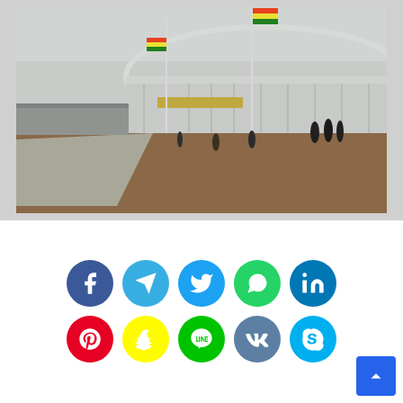[Figure (photo): Exterior view of a large modern stadium in Ghana with Ghanaian flags on flagpoles, people standing in the foreground on paved grounds, overcast sky, and a white structural roof]
Share this...
[Figure (infographic): Row of social media share buttons: Facebook (dark blue), Telegram (light blue), Twitter (blue), WhatsApp (green), LinkedIn (blue); second row: Pinterest (red), Snapchat (yellow), Line (green), VK (slate blue), Skype (light blue)]